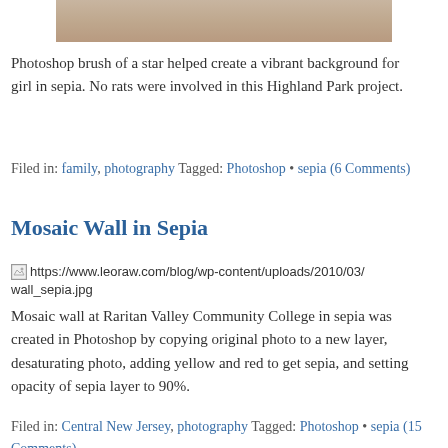[Figure (photo): Top portion of a photograph showing a girl in sepia tone with background]
Photoshop brush of a star helped create a vibrant background for girl in sepia. No rats were involved in this Highland Park project.
Filed in: family, photography Tagged: Photoshop • sepia (6 Comments)
Mosaic Wall in Sepia
[Figure (photo): Broken image link: https://www.leoraw.com/blog/wp-content/uploads/2010/03/wall_sepia.jpg]
Mosaic wall at Raritan Valley Community College in sepia was created in Photoshop by copying original photo to a new layer, desaturating photo, adding yellow and red to get sepia, and setting opacity of sepia layer to 90%.
Filed in: Central New Jersey, photography Tagged: Photoshop • sepia (15 Comments)